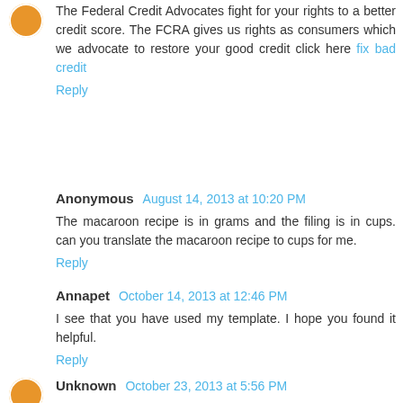The Federal Credit Advocates fight for your rights to a better credit score. The FCRA gives us rights as consumers which we advocate to restore your good credit click here fix bad credit
Reply
Anonymous  August 14, 2013 at 10:20 PM
The macaroon recipe is in grams and the filing is in cups. can you translate the macaroon recipe to cups for me.
Reply
Annapet  October 14, 2013 at 12:46 PM
I see that you have used my template. I hope you found it helpful.
Reply
Unknown  October 23, 2013 at 5:56 PM